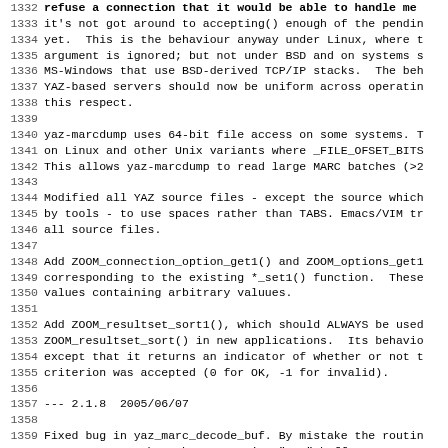1332 refuse a connection that it would be able to handle me
1333 it's not got around to accepting() enough of the pendin
1334 yet.  This is the behaviour anyway under Linux, where t
1335 argument is ignored; but not under BSD and on systems s
1336 MS-Windows that use BSD-derived TCP/IP stacks.  The beh
1337 YAZ-based servers should now be uniform across operatin
1338 this respect.
1339 
1340 yaz-marcdump uses 64-bit file access on some systems. T
1341 on Linux and other Unix variants where _FILE_OFSET_BITS
1342 This allows yaz-marcdump to read large MARC batches (>2
1343 
1344 Modified all YAZ source files - except the source which
1345 by tools - to use spaces rather than TABS. Emacs/VIM tr
1346 all source files.
1347 
1348 Add ZOOM_connection_option_get1() and ZOOM_options_get1
1349 corresponding to the existing *_set1() function.  These
1350 values containing arbitrary valuues.
1351 
1352 Add ZOOM_resultset_sort1(), which should ALWAYS be used
1353 ZOOM_resultset_sort() in new applications.  Its behavio
1354 except that it returns an indicator of whether or not t
1355 criterion was accepted (0 for OK, -1 for invalid).
1356 
1357 --- 2.1.8  2005/06/07
1358 
1359 Fixed bug in yaz_marc_decode_buf. By mistake the routin
1360 MARC output rather than returning "new" buffer.
1361 
1362 yaz-client warns about unknown init options.
1363